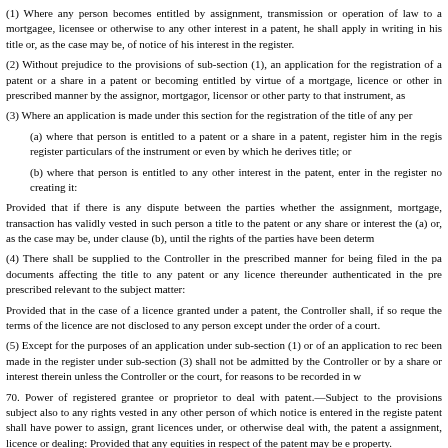(1) Where any person becomes entitled by assignment, transmission or operation of law to a mortgagee, licensee or otherwise to any other interest in a patent, he shall apply in writing in his title or, as the case may be, of notice of his interest in the register.
(2) Without prejudice to the provisions of sub-section (1), an application for the registration of a patent or a share in a patent or becoming entitled by virtue of a mortgage, licence or other in prescribed manner by the assignor, mortgagor, licensor or other party to that instrument, as
(3) Where an application is made under this section for the registration of the title of any per
(a) where that person is entitled to a patent or a share in a patent, register him in the regis register particulars of the instrument or even by which he derives title; or
(b) where that person is entitled to any other interest in the patent, enter in the register no creating it:
Provided that if there is any dispute between the parties whether the assignment, mortgage, transaction has validly vested in such person a title to the patent or any share or interest the (a) or, as the case may be, under clause (b), until the rights of the parties have been determ
(4) There shall be supplied to the Controller in the prescribed manner for being filed in the pa documents affecting the title to any patent or any licence thereunder authenticated in the pre prescribed relevant to the subject matter:
Provided that in the case of a licence granted under a patent, the Controller shall, if so reque the terms of the licence are not disclosed to any person except under the order of a court.
(5) Except for the purposes of an application under sub-section (1) or of an application to rec been made in the register under sub-section (3) shall not be admitted by the Controller or by a share or interest therein unless the Controller or the court, for reasons to be recorded in w
70. Power of registered grantee or proprietor to deal with patent.—Subject to the provisions subject also to any rights vested in any other person of which notice is entered in the registe patent shall have power to assign, grant licences under, or otherwise deal with, the patent a assignment, licence or dealing: Provided that any equities in respect of the patent may be e property.